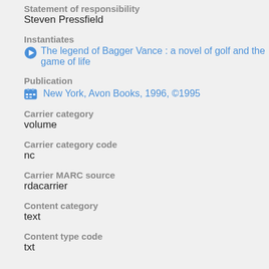Statement of responsibility
Steven Pressfield
Instantiates
The legend of Bagger Vance : a novel of golf and the game of life
Publication
New York, Avon Books, 1996, ©1995
Carrier category
volume
Carrier category code
nc
Carrier MARC source
rdacarrier
Content category
text
Content type code
txt